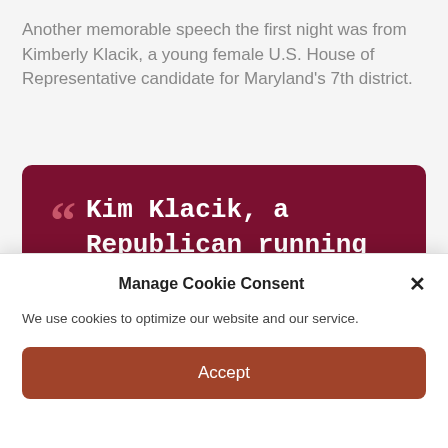Another memorable speech the first night was from Kimberly Klacik, a young female U.S. House of Representative candidate for Maryland's 7th district.
[Figure (other): Dark red/maroon quote block with large opening quotation mark and white serif/monospace text reading: Kim Klacik, a Republican running for Congress in Maryland, said at the RNC: “Democrats still assume that Black people will vote for them,]
Manage Cookie Consent
We use cookies to optimize our website and our service.
Accept